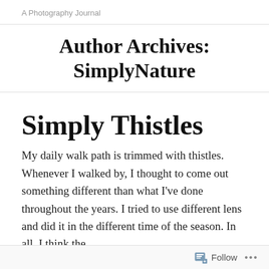A Photography Journal
Author Archives: SimplyNature
Simply Thistles
My daily walk path is trimmed with thistles. Whenever I walked by, I thought to come out something different than what I've done throughout the years. I tried to use different lens and did it in the different time of the season. In all. I think the